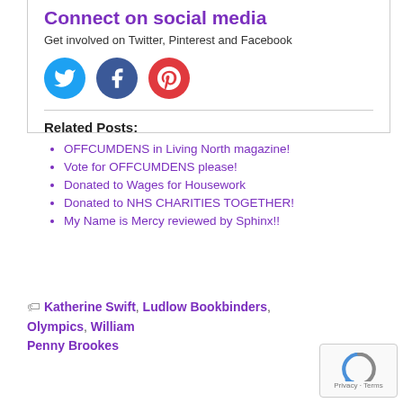Connect on social media
Get involved on Twitter, Pinterest and Facebook
[Figure (illustration): Three social media icons: Twitter (blue bird), Facebook (dark blue f), Pinterest (red p)]
Related Posts:
OFFCUMDENS in Living North magazine!
Vote for OFFCUMDENS please!
Donated to Wages for Housework
Donated to NHS CHARITIES TOGETHER!
My Name is Mercy reviewed by Sphinx!!
Katherine Swift, Ludlow Bookbinders, Olympics, William Penny Brookes